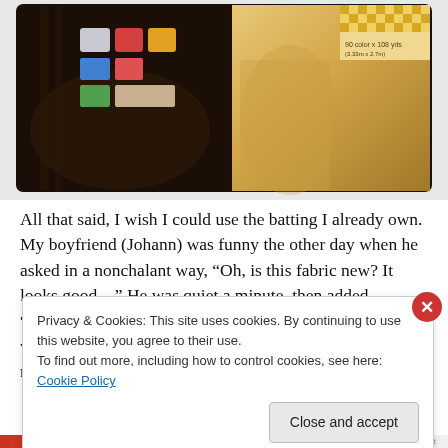[Figure (photo): Photo showing quilting materials: a dark patchwork item with colorful patches/badges on the left, and a roll of fabric or batting with a checkered pattern label on the right, warm amber/brown tones]
All that said, I wish I could use the batting I already own. My boyfriend (Johann) was funny the other day when he asked in a nonchalant way, “Oh, is this fabric new? It looks good…” He was quiet a minute, then added, “Didn’t patchwork quilts traditionally used to be made with leftover fabric from stuff like clothes?” Nuance is not normally his
Privacy & Cookies: This site uses cookies. By continuing to use this website, you agree to their use.
To find out more, including how to control cookies, see here: Cookie Policy
Close and accept